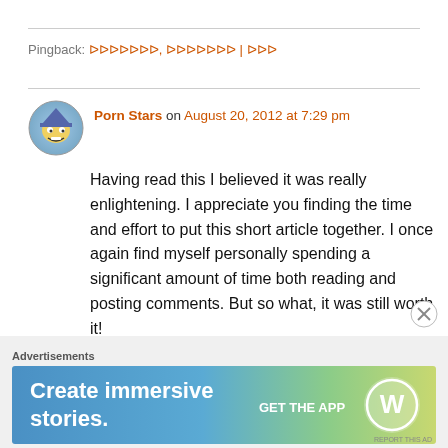Pingback: ᐅᐅᐅᐅᐅᐅᐅ, ᐅᐅᐅᐅᐅᐅᐅ | ᐅᐅᐅ
Porn Stars on August 20, 2012 at 7:29 pm
Having read this I believed it was really enlightening. I appreciate you finding the time and effort to put this short article together. I once again find myself personally spending a significant amount of time both reading and posting comments. But so what, it was still worth it!
Advertisements
[Figure (other): WordPress advertisement banner: 'Create immersive stories. GET THE APP' with WordPress logo]